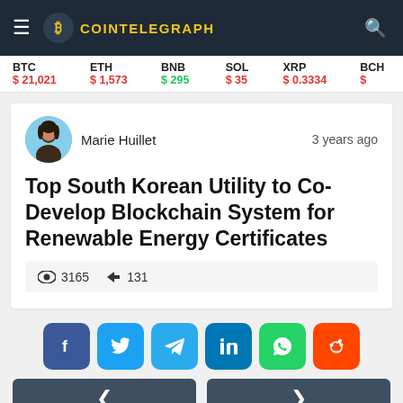COINTELEGRAPH
BTC $21,021  ETH $1,573  BNB $295  SOL $35  XRP $0.3334  BCH $...
Marie Huillet  3 years ago
Top South Korean Utility to Co-Develop Blockchain System for Renewable Energy Certificates
3165 views  131 shares